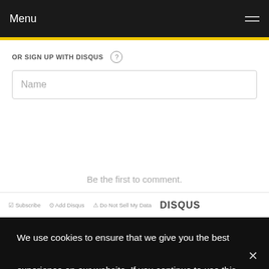Menu
OR SIGN UP WITH DISQUS
[Figure (screenshot): Name input field placeholder text]
Be the first to comment.
Subscribe  Add Disqus  Do Not Sell My Data  DISQUS
We use cookies to ensure that we give you the best experience on our website. If you continue to use this